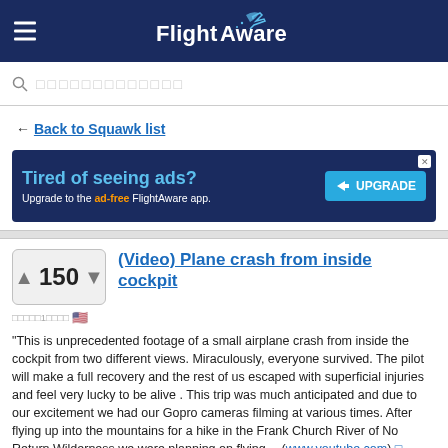[Figure (screenshot): FlightAware mobile website header with dark navy background, hamburger menu icon on left, FlightAware logo with airplane icon in center]
Search bar with placeholder characters
← Back to Squawk list
[Figure (screenshot): Advertisement banner: 'Tired of seeing ads? Upgrade to the ad-free FlightAware app.' with UPGRADE button on dark blue background]
(Video) Plane crash from inside cockpit
Vote count: 150
"This is unprecedented footage of a small airplane crash from inside the cockpit from two different views. Miraculously, everyone survived. The pilot will make a full recovery and the rest of us escaped with superficial injuries and feel very lucky to be alive . This trip was much anticipated and due to our excitement we had our Gopro cameras filming at various times. After flying up into the mountains for a hike in the Frank Church River of No Return Wilderness we were planning on flying… (www.youtube.com) 더…
Daniel Baker